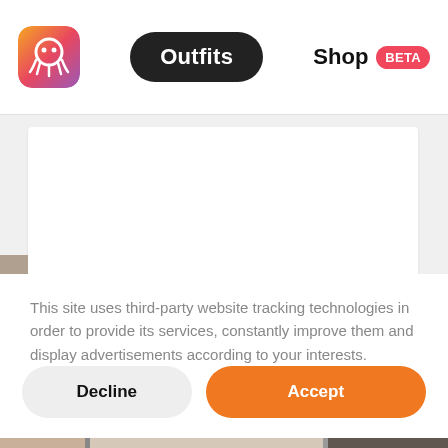[Figure (screenshot): App logo icon with orange octopus on gradient pink-to-purple rounded square background]
Outfits  Shop BETA
[Figure (photo): White content area / blank card below navigation]
This site uses third-party website tracking technologies in order to provide its services, constantly improve them and display advertisements according to your interests.
[Figure (screenshot): Decline and Accept cookie consent buttons]
[Figure (photo): Bottom image strip showing partial photos]